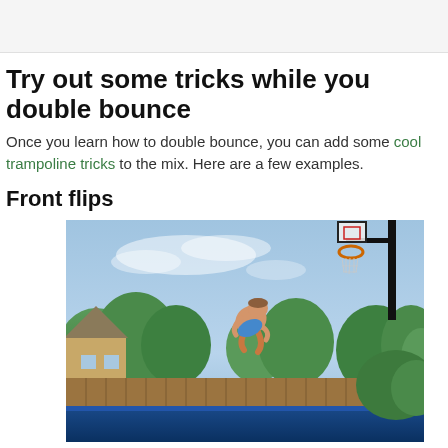Try out some tricks while you double bounce
Once you learn how to double bounce, you can add some cool trampoline tricks to the mix. Here are a few examples.
Front flips
[Figure (photo): Person performing a front flip on a trampoline outdoors, with a basketball hoop visible in the upper right, trees and a wooden fence in the background, and the edge of a blue trampoline at the bottom.]